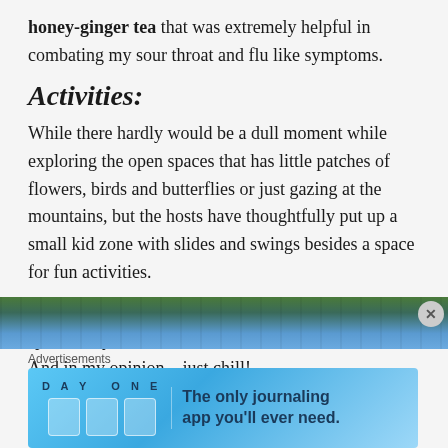honey-ginger tea that was extremely helpful in combating my sour throat and flu like symptoms.
Activities:
While there hardly would be a dull moment while exploring the open spaces that has little patches of flowers, birds and butterflies or just gazing at the mountains, but the hosts have thoughtfully put up a small kid zone with slides and swings besides a space for fun activities.
But if total carefree time is what you seek, the trees sport a lazy hammock in various nooks of the resort. And in my opinion... just chill!
[Figure (photo): Partial photo strip showing trees and blue sky at the top of an advertisement area]
Advertisements
[Figure (screenshot): Day One journaling app advertisement banner with blue background, app icons, and tagline 'The only journaling app you'll ever need.']